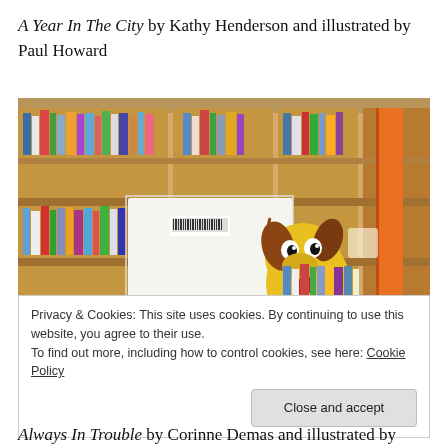A Year In The City by Kathy Henderson and illustrated by Paul Howard
[Figure (photo): Photo of a children's book 'Always In Trouble' displayed on a library shelf. The book shows a cartoon dog with a yellow body, floppy brown ears, and a tongue sticking out. Behind the book are shelves full of colorful books in a library setting.]
Privacy & Cookies: This site uses cookies. By continuing to use this website, you agree to their use.
To find out more, including how to control cookies, see here: Cookie Policy
Always In Trouble by Corinne Demas and illustrated by